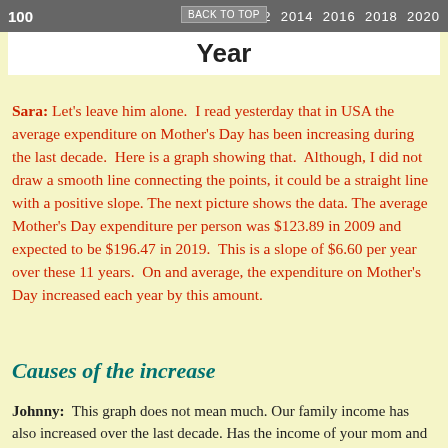100   2010 2012 2014 2016 2018 2020   BACK TO TOP
Year
Sara: Let's leave him alone.  I read yesterday that in USA the average expenditure on Mother's Day has been increasing during the last decade.  Here is a graph showing that.  Although, I did not draw a smooth line connecting the points, it could be a straight line with a positive slope. The next picture shows the data. The average Mother's Day expenditure per person was $123.89 in 2009 and expected to be $196.47 in 2019.  This is a slope of $6.60 per year over these 11 years.  On and average, the expenditure on Mother's Day increased each year by this amount.
Causes of the increase
Johnny:  This graph does not mean much. Our family income has also increased over the last decade. Has the income of your mom and dad also not increased ?  So the